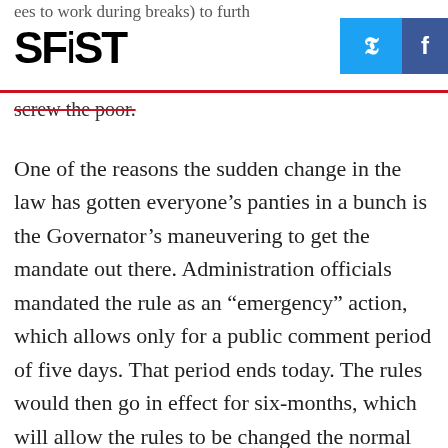SFiST
screw the poor.
One of the reasons the sudden change in the law has gotten everyone’s panties in a bunch is the Governator’s maneuvering to get the mandate out there. Administration officials mandated the rule as an “emergency” action, which allows only for a public comment period of five days. That period ends today. The rules would then go in effect for six-months, which will allow the rules to be changed the normal process. Lawmakers are complaining that by issuing the rule as an “emergency” action, it is an attempt by the